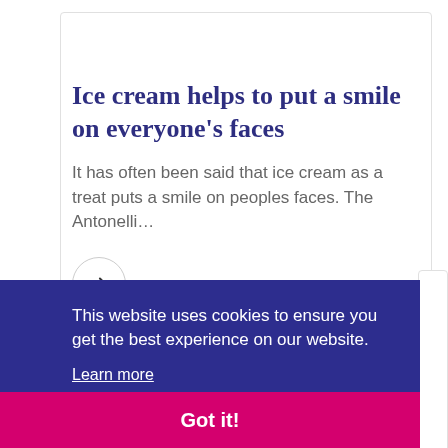Ice cream helps to put a smile on everyone's faces
It has often been said that ice cream as a treat puts a smile on peoples faces. The Antonelli…
This website uses cookies to ensure you get the best experience on our website.
Learn more
Got it!